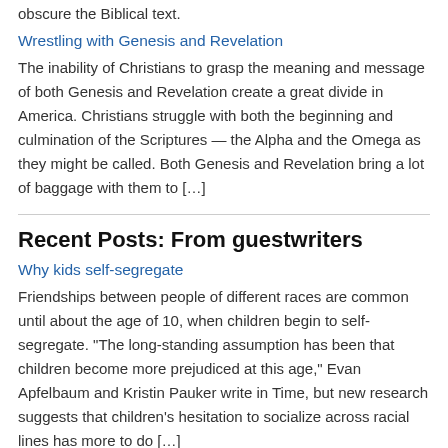obscure the Biblical text.
Wrestling with Genesis and Revelation
The inability of Christians to grasp the meaning and message of both Genesis and Revelation create a great divide in America. Christians struggle with both the beginning and culmination of the Scriptures — the Alpha and the Omega as they might be called. Both Genesis and Revelation bring a lot of baggage with them to […]
Recent Posts: From guestwriters
Why kids self-segregate
Friendships between people of different races are common until about the age of 10, when children begin to self-segregate. "The long-standing assumption has been that children become more prejudiced at this age," Evan Apfelbaum and Kristin Pauker write in Time, but new research suggests that children's hesitation to socialize across racial lines has more to do […]